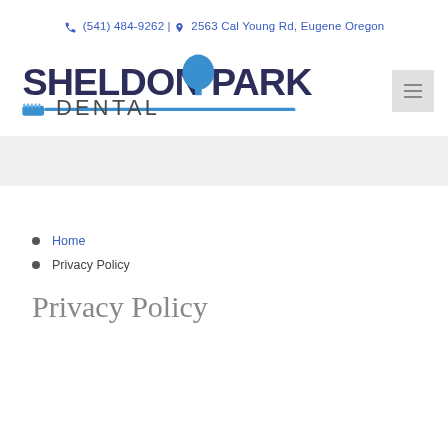(541) 484-9262 | 2563 Cal Young Rd, Eugene Oregon
[Figure (logo): Sheldon Park Dental logo with toothbrush graphic and tree icon]
Home
Privacy Policy
Privacy Policy